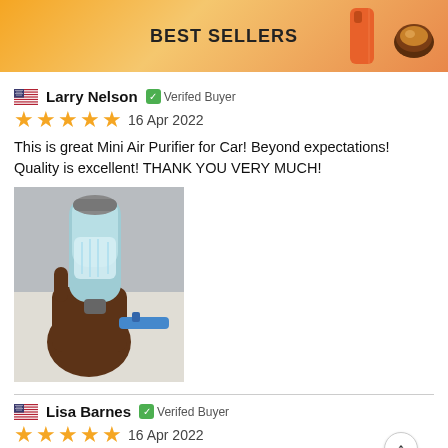BEST SELLERS
Larry Nelson  Verifed Buyer
16 Apr 2022
This is great Mini Air Purifier for Car! Beyond expectations! Quality is excellent! THANK YOU VERY MUCH!
[Figure (photo): A hand holding a small car air purifier/diffuser device, grey and transparent, in an indoor setting]
Lisa Barnes  Verifed Buyer
16 Apr 2022
looks beautiful, the condition is perfect! Not all things las forever. I use my car diffuser every day so I expected it to not